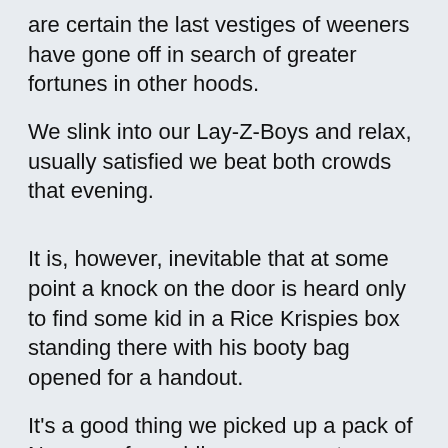are certain the last vestiges of weeners have gone off in search of greater fortunes in other hoods.
We slink into our Lay-Z-Boys and relax, usually satisfied we beat both crowds that evening.
It is, however, inevitable that at some point a knock on the door is heard only to find some kid in a Rice Krispies box standing there with his booty bag opened for a handout.
It's a good thing we picked up a pack of Necco wafers while we were out.